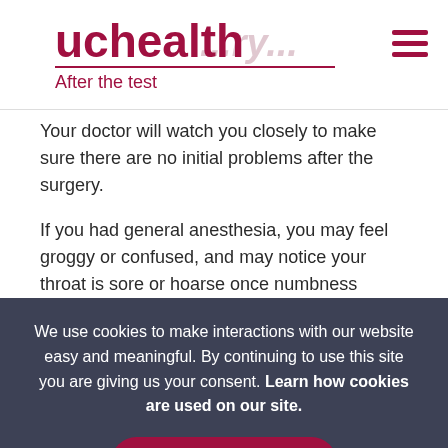[Figure (logo): UCHealth logo with red text and underline, with 'After the test' subtitle]
Your doctor will watch you closely to make sure there are no initial problems after the surgery.
If you had general anesthesia, you may feel groggy or confused, and may notice your throat is sore or hoarse once numbness wears off. You may also
We use cookies to make interactions with our website easy and meaningful. By continuing to use this site you are giving us your consent. Learn how cookies are used on our site.
Accept terms
For surgery under general anesthesia, a hospital stay is required for 3-4 days. If a chest tube was inserted, it may stay in for a few days until pleural drainage